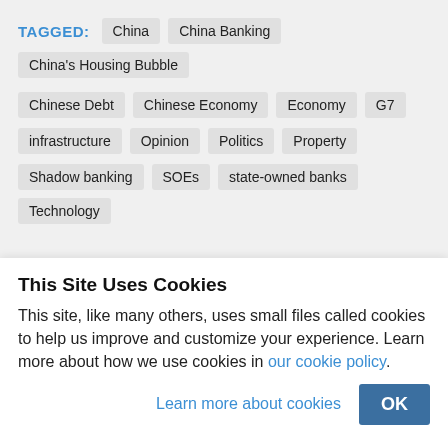TAGGED: China, China Banking, China's Housing Bubble, Chinese Debt, Chinese Economy, Economy, G7, infrastructure, Opinion, Politics, Property, Shadow banking, SOEs, state-owned banks, Technology
This Site Uses Cookies
This site, like many others, uses small files called cookies to help us improve and customize your experience. Learn more about how we use cookies in our cookie policy.
Learn more about cookies  OK